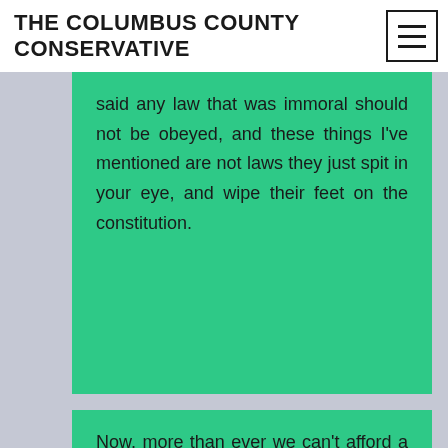THE COLUMBUS COUNTY CONSERVATIVE
said any law that was immoral should not be obeyed, and these things I've mentioned are not laws they just spit in your eye, and wipe their feet on the constitution.
Now, more than ever we can't afford a Democrat Sheriff in Columbus County. The Democrat Party rules their elected officials with an iron fist. The sheriff is the last line of defense you have against this corrupt and vile administration in Washington which sends Roy Cooper his marching orders, his loyalty is to himself and the